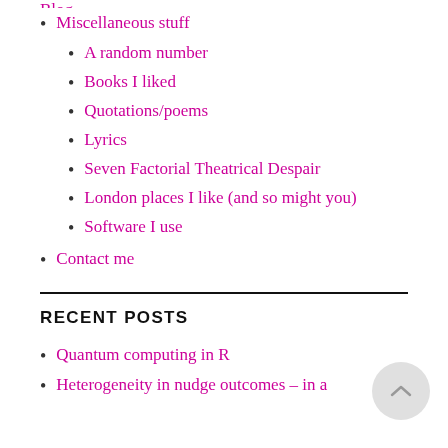Miscellaneous stuff
A random number
Books I liked
Quotations/poems
Lyrics
Seven Factorial Theatrical Despair
London places I like (and so might you)
Software I use
Contact me
RECENT POSTS
Quantum computing in R
Heterogeneity in nudge outcomes – in a